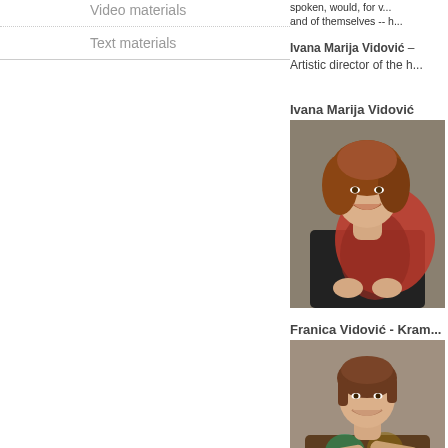Video materials
Text materials
spoken, would, for v... and of themselves -- h...
Ivana Marija Vidović
Artistic director of the h...
Ivana Marija Vidović
[Figure (photo): Portrait photo of Ivana Marija Vidović, a woman with curly red-brown hair wearing a black top and red shawl, smiling]
Franica Vidović - Kram...
[Figure (photo): Portrait photo of Franica Vidović - Kramberger, a woman with short brown hair wearing a colorful patterned top, smiling with arms crossed]